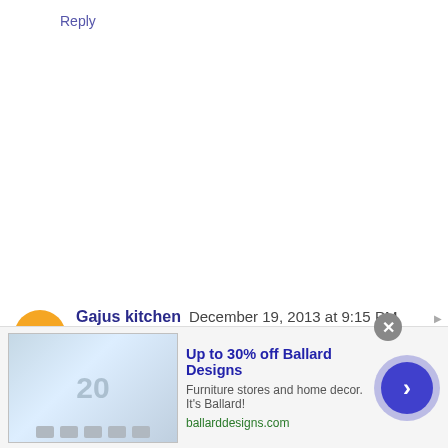Reply
Gajus kitchen  December 19, 2013 at 9:15 PM
looks lovely served in vazhai ilai and useful tips too
[Figure (infographic): Advertisement banner: Up to 30% off Ballard Designs. Furniture stores and home decor. It's Ballard! ballarddesigns.com. Shows a kitchen image on left, close button, and right-arrow navigation button.]